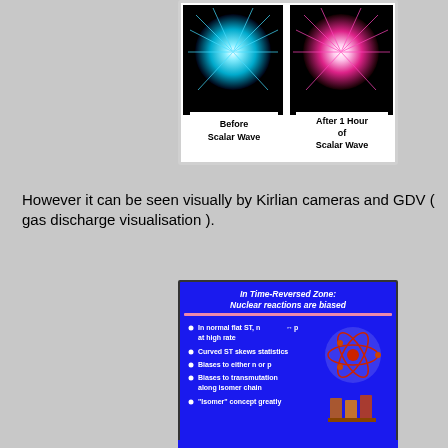[Figure (illustration): Two Kirlian/GDV photographs side by side: left shows a blue-cyan energy burst labeled 'Before Scalar Wave', right shows a pink-red energy burst labeled 'After 1 Hour of Scalar Wave'. Both on white background inside a light grey frame.]
However it can be seen visually by Kirlian cameras and GDV ( gas discharge visualisation ).
[Figure (illustration): Blue slide titled 'In Time-Reversed Zone: Nuclear reactions are biased' with bullet points: 'In normal flat ST, n ↔ p at high rate', 'Curved ST skews statistics', 'Biases to either n or p', 'Biases to transmutation along isomer chain', '"Isomer" concept greatly'. Right side shows atom diagram and lab flask illustration.]